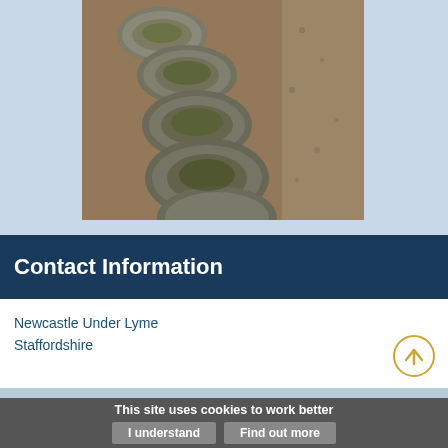[Figure (photo): Stepping stones made of large rounded moss-covered rocks arranged in a diagonal path over a gravel or sand surface, viewed from above.]
Contact Information
Newcastle Under Lyme
Staffordshire
This site uses cookies to work better
I understand
Find out more